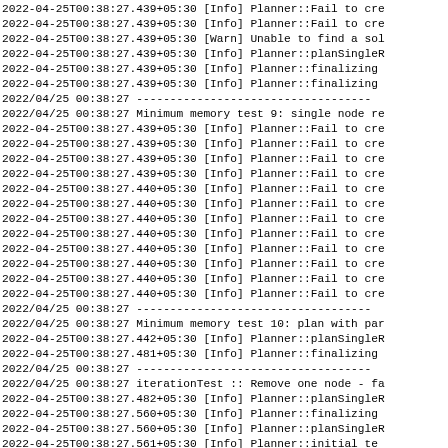2022-04-25T00:38:27.439+05:30 [Info] Planner::Fail to cre
2022-04-25T00:38:27.439+05:30 [Info] Planner::Fail to cre
2022-04-25T00:38:27.439+05:30 [Warn] Unable to find a sol
2022-04-25T00:38:27.439+05:30 [Info] Planner::planSingleR
2022-04-25T00:38:27.439+05:30 [Info] Planner::finalizing
2022-04-25T00:38:27.439+05:30 [Info] Planner::finalizing
2022/04/25 00:38:27 -----------------------------------
2022/04/25 00:38:27 Minimum memory test 9: single node re
2022-04-25T00:38:27.439+05:30 [Info] Planner::Fail to cre
2022-04-25T00:38:27.439+05:30 [Info] Planner::Fail to cre
2022-04-25T00:38:27.439+05:30 [Info] Planner::Fail to cre
2022-04-25T00:38:27.439+05:30 [Info] Planner::Fail to cre
2022-04-25T00:38:27.440+05:30 [Info] Planner::Fail to cre
2022-04-25T00:38:27.440+05:30 [Info] Planner::Fail to cre
2022-04-25T00:38:27.440+05:30 [Info] Planner::Fail to cre
2022-04-25T00:38:27.440+05:30 [Info] Planner::Fail to cre
2022-04-25T00:38:27.440+05:30 [Info] Planner::Fail to cre
2022-04-25T00:38:27.440+05:30 [Info] Planner::Fail to cre
2022-04-25T00:38:27.440+05:30 [Info] Planner::Fail to cre
2022-04-25T00:38:27.440+05:30 [Info] Planner::Fail to cre
2022/04/25 00:38:27 -----------------------------------
2022/04/25 00:38:27 Minimum memory test 10: plan with par
2022-04-25T00:38:27.442+05:30 [Info] Planner::planSingleR
2022-04-25T00:38:27.481+05:30 [Info] Planner::finalizing
2022/04/25 00:38:27 -----------------------------------
2022/04/25 00:38:27 iterationTest :: Remove one node - fa
2022-04-25T00:38:27.482+05:30 [Info] Planner::planSingleR
2022-04-25T00:38:27.560+05:30 [Info] Planner::finalizing
2022-04-25T00:38:27.560+05:30 [Info] Planner::planSingleR
2022-04-25T00:38:27.561+05:30 [Info] Planner::initial te